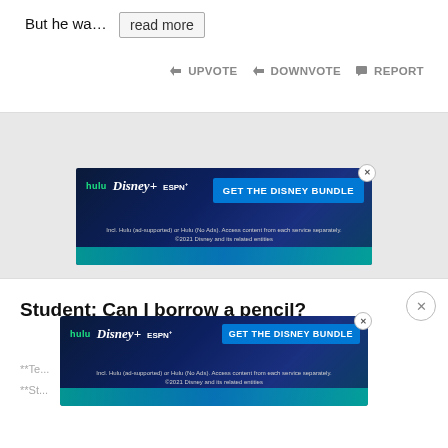But he wa… read more
👍 UPVOTE  👎 DOWNVOTE  🚩 REPORT
[Figure (screenshot): Disney Bundle advertisement banner showing Hulu, Disney+, and ESPN+ logos with blue CTA button reading 'GET THE DISNEY BUNDLE'. Fine print: 'Incl. Hulu (ad-supported) or Hulu (No Ads). Access content from each service separately. ©2021 Disney and its related entities']
Student: Can I borrow a pencil?
**Te... pencil?
**St... permission. Since you and the rest of the class
[Figure (screenshot): Disney Bundle advertisement banner overlay showing Hulu, Disney+, and ESPN+ logos with blue CTA button reading 'GET THE DISNEY BUNDLE'. Fine print: 'Incl. Hulu (ad-supported) or Hulu (No Ads). Access content from each service separately. ©2021 Disney and its related entities']